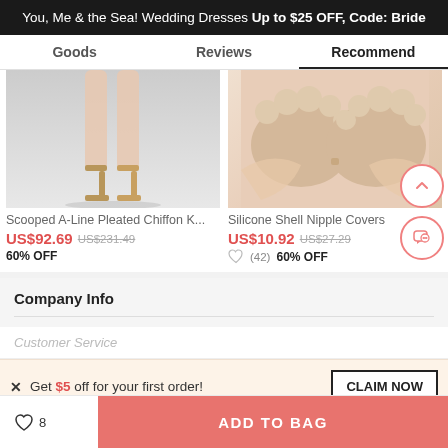You, Me & the Sea! Wedding Dresses Up to $25 OFF, Code: Bride
Goods | Reviews | Recommend
[Figure (photo): Product photo of high-heel shoes (lower legs and gold heels on grey background)]
Scooped A-Line Pleated Chiffon K...
US$92.69  US$231.49
60% OFF
[Figure (photo): Product photo of beige silicone shell nipple covers being held against skin]
Silicone Shell Nipple Covers
US$10.92  US$27.29
60% OFF  (42)
Company Info
Customer Service
× Get $5 off for your first order!
CLAIM NOW
8  ADD TO BAG